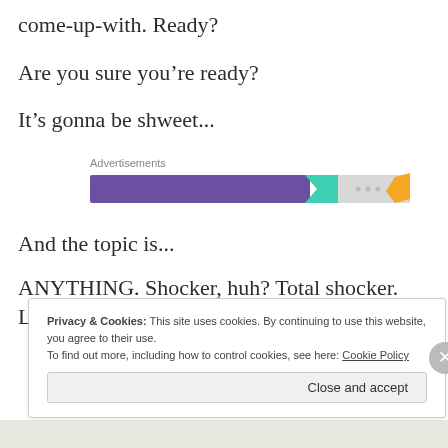come-up-with. Ready?
Are you sure you're ready?
It's gonna be shweet...
[Figure (other): Advertisement banner with purple, teal, and orange colored shapes and dots on a light gray background, labeled 'Advertisements']
And the topic is...
ANYTHING. Shocker, huh? Total shocker. Like
Privacy & Cookies: This site uses cookies. By continuing to use this website, you agree to their use.
To find out more, including how to control cookies, see here: Cookie Policy
Close and accept